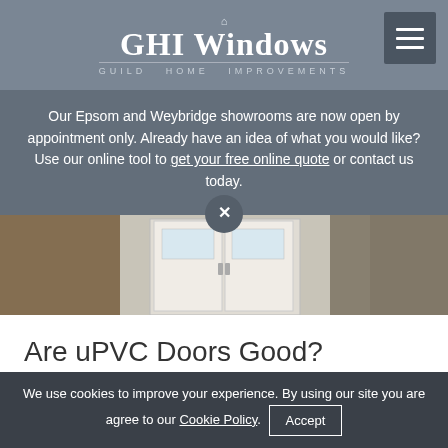GHI Windows — GUILD HOME IMPROVEMENTS
Our Epsom and Weybridge showrooms are now open by appointment only. Already have an idea of what you would like? Use our online tool to get your free online quote or contact us today.
[Figure (photo): Photo of uPVC double doors set in a brick wall exterior, viewed from outside]
Are uPVC Doors Good?
September 20, 2021
READ MORE
We use cookies to improve your experience. By using our site you are agree to our Cookie Policy. Accept